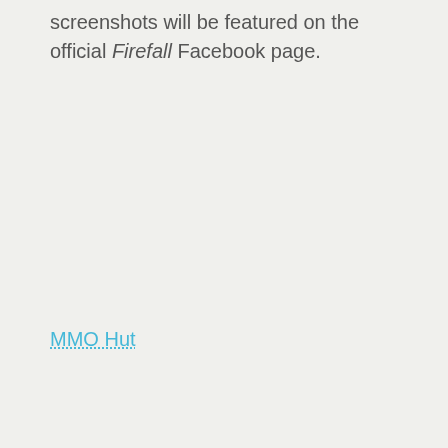screenshots will be featured on the official Firefall Facebook page.
MMO Hut